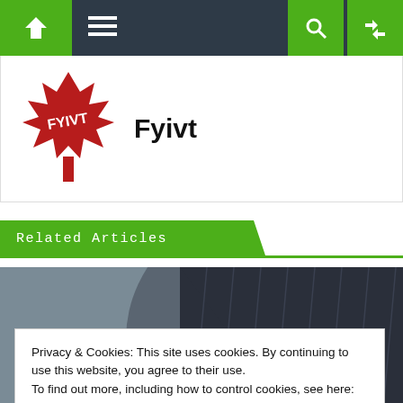Navigation bar with home, menu, search, and shuffle icons
[Figure (logo): Fyivt logo — red maple leaf with FYIVT text on it, next to bold text 'Fyivt']
Related Articles
[Figure (photo): Photo of a person in a dark pinstripe suit, partial view of torso and hand]
Privacy & Cookies: This site uses cookies. By continuing to use this website, you agree to their use.
To find out more, including how to control cookies, see here:
Cookie Policy
Close and accept